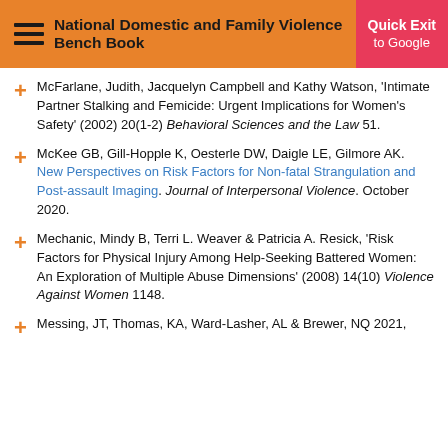National Domestic and Family Violence Bench Book
McFarlane, Judith, Jacquelyn Campbell and Kathy Watson, 'Intimate Partner Stalking and Femicide: Urgent Implications for Women's Safety' (2002) 20(1-2) Behavioral Sciences and the Law 51.
McKee GB, Gill-Hopple K, Oesterle DW, Daigle LE, Gilmore AK. New Perspectives on Risk Factors for Non-fatal Strangulation and Post-assault Imaging. Journal of Interpersonal Violence. October 2020.
Mechanic, Mindy B, Terri L. Weaver & Patricia A. Resick, 'Risk Factors for Physical Injury Among Help-Seeking Battered Women: An Exploration of Multiple Abuse Dimensions' (2008) 14(10) Violence Against Women 1148.
Messing, JT, Thomas, KA, Ward-Lasher, AL & Brewer, NQ 2021,